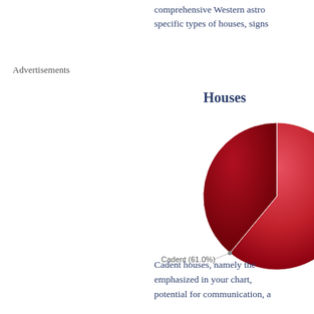comprehensive Western astro... specific types of houses, signs...
Advertisements
Houses
[Figure (pie-chart): Houses]
Cadent houses, namely the... emphasized in your chart, potential for communication, a...